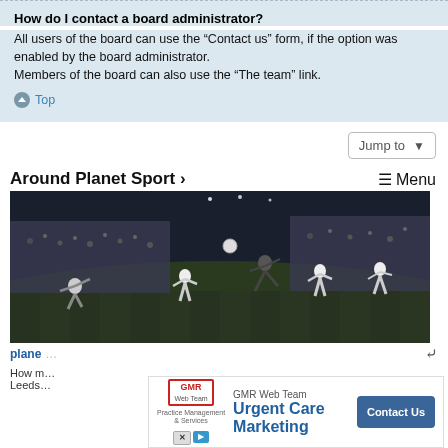How do I contact a board administrator?
All users of the board can use the “Contact us” form, if the option was enabled by the board administrator.
Members of the board can also use the “The team” link.
Top
Jump to
Around Planet Sport ›
≡ Menu
[Figure (photo): Black and white photograph of a football match with multiple players on a pitch, crowd visible in background, night game]
plane… h
How m…
Leeds…
[Figure (infographic): Advertisement overlay: GMR Web Team - Urgent Care Marketing with Contact Us button and X/play social icons]